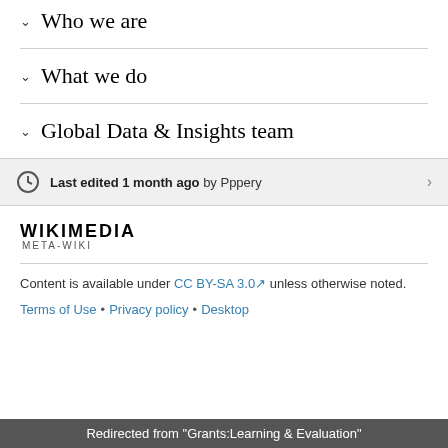Who we are
What we do
Global Data & Insights team
Last edited 1 month ago by Pppery
[Figure (logo): Wikimedia Meta-Wiki logo wordmark]
Content is available under CC BY-SA 3.0 unless otherwise noted.
Terms of Use • Privacy policy • Desktop
Redirected from "Grants:Learning & Evaluation"